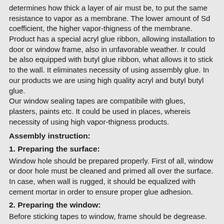determines how thick a layer of air must be, to put the same resistance to vapor as a membrane. The lower amount of Sd coefficient, the higher vapor-thigness of the membrane.
Product has a special acryl glue ribbon, allowing installation to door or window frame, also in unfavorable weather. Ir could be also equipped with butyl glue ribbon, what allows it to stick to the wall. It eliminates necessity of using assembly glue. In our products we are using high quality acryl and butyl butyl glue.
Our window sealing tapes are compatibile with glues, plasters, paints etc. It could be used in places, whereis necessity of using high vapor-thigness products.
Assembly instruction:
1. Preparing the surface:
Window hole should be prepared properly. First of all, window or door hole must be cleaned and primed all over the surface. In case, when wall is rugged, it should be equalized with cement mortar in order to ensure proper glue adhesion.
2. Preparing the window:
Before sticking tapes to window, frame should be degrease. Frame must be dry and clean. Next step is to fit on the window in order to check distances between window and hole corners and proper tapes selection.
3. Sticking tapes to the window: